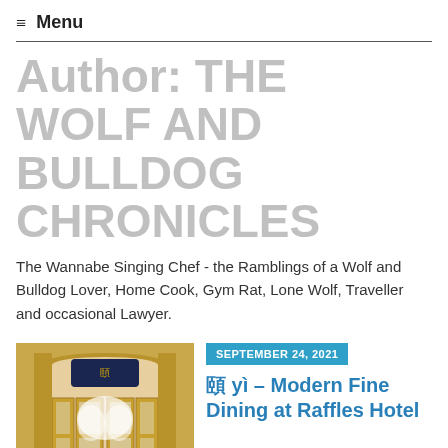≡ Menu
Author: THE WOLF AND BULLDOG CHRONICLES
The Wannabe Singing Chef - the Ramblings of a Wolf and Bulldog Lover, Home Cook, Gym Rat, Lone Wolf, Traveller and occasional Lawyer.
[Figure (photo): Interior of a restaurant entrance with gold-framed glass doors and an arched doorway with a dark blue sign with gold Chinese characters. White floral installation visible inside.]
SEPTEMBER 24, 2021
頤 yì – Modern Fine Dining at Raffles Hotel